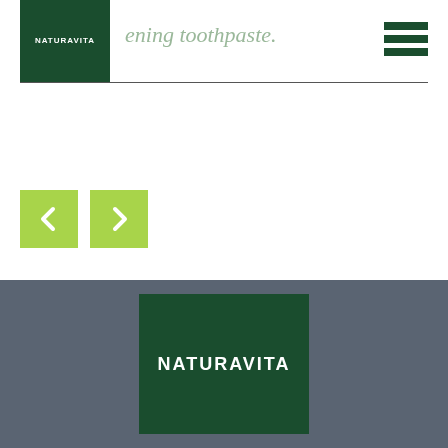[Figure (logo): NATURAVITA logo - white text on dark green background square, top-left navigation header]
ening toothpaste.
[Figure (other): Hamburger menu icon - three dark green horizontal bars, top-right corner]
[Figure (other): Navigation arrows - two lime green square buttons with left and right chevron arrows]
[Figure (logo): NATURAVITA logo - white text on dark green background, centered in gray footer section]